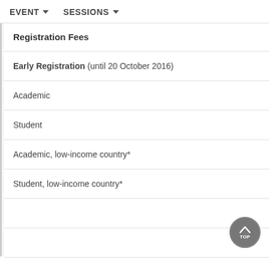EVENT ▼   SESSIONS ▼
Registration Fees
Early Registration (until 20 October 2016)
Academic
Student
Academic, low-income country*
Student, low-income country*